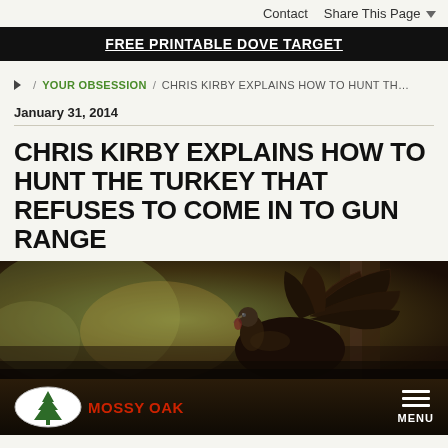Contact  Share This Page
FREE PRINTABLE DOVE TARGET
/ YOUR OBSESSION / CHRIS KIRBY EXPLAINS HOW TO HUNT TH...
January 31, 2014
CHRIS KIRBY EXPLAINS HOW TO HUNT THE TURKEY THAT REFUSES TO COME IN TO GUN RANGE
[Figure (photo): Close-up photograph of a wild turkey in a blurred woodland background]
MOSSY OAK  MENU